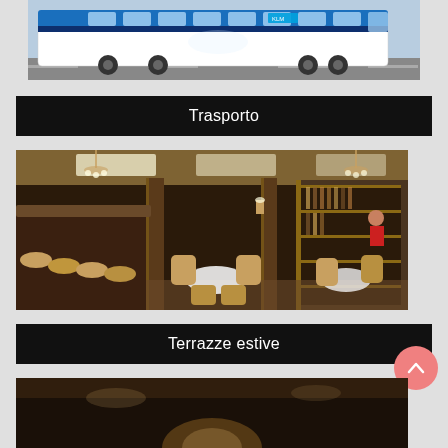[Figure (photo): KLM blue and white coach bus driving on a road]
Trasporto
[Figure (photo): Elegant hotel restaurant interior with golden chairs, round tables, bar stools, chandeliers and dark wood decor]
Terrazze estive
[Figure (photo): Partial view of another photo at the bottom of the page]